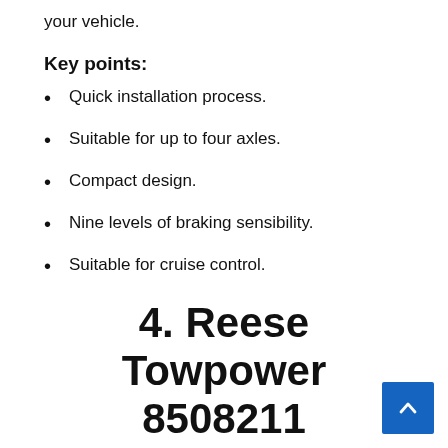your vehicle.
Key points:
Quick installation process.
Suitable for up to four axles.
Compact design.
Nine levels of braking sensibility.
Suitable for cruise control.
4. Reese Towpower 8508211